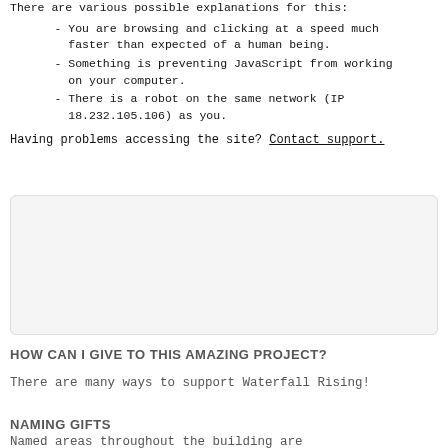There are various possible explanations for this:
- You are browsing and clicking at a speed much faster than expected of a human being.
- Something is preventing JavaScript from working on your computer.
- There is a robot on the same network (IP 18.232.105.106) as you.
Having problems accessing the site? Contact support.
[Figure (other): Empty light gray rounded rectangle box]
HOW CAN I GIVE TO THIS AMAZING PROJECT?
There are many ways to support Waterfall Rising!
NAMING GIFTS
Named areas throughout the building are